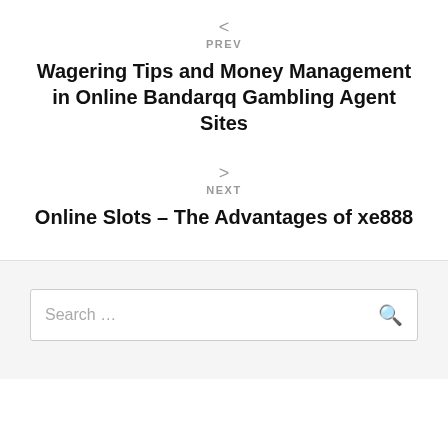<
PREV
Wagering Tips and Money Management in Online Bandarqq Gambling Agent Sites
>
NEXT
Online Slots – The Advantages of xe888
Search ...